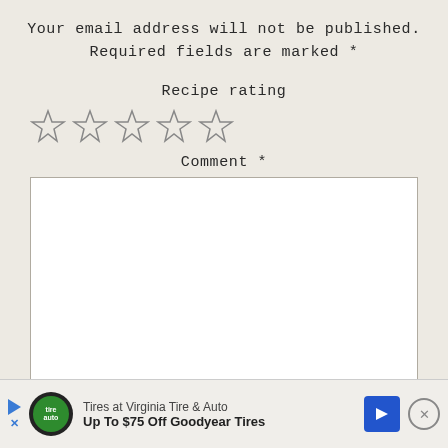Your email address will not be published. Required fields are marked *
Recipe rating
[Figure (other): Five empty star rating icons in a row]
Comment *
[Figure (other): Empty comment text area box with white background and border]
Tires at Virginia Tire & Auto  Up To $75 Off Goodyear Tires